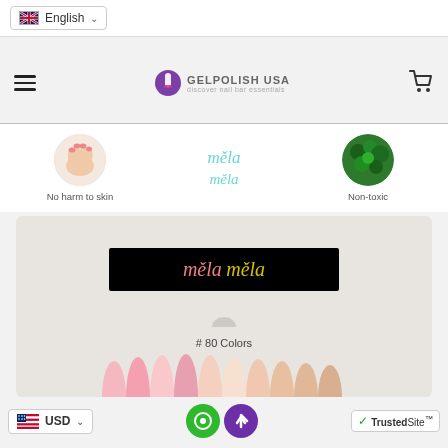[Figure (screenshot): Language selector dropdown showing English with UK flag]
[Figure (logo): GelPolish USA logo with nail polish bottle icon and navigation bar with hamburger menu and shopping cart]
[Figure (illustration): Product feature section: circular image of hand (No harm to skin), mela mela brand logo in center, circular green leaves image (Non-toxic)]
[Figure (illustration): Mela mela brand banner on black background with #80 Colors text and nail color swatches row]
[Figure (screenshot): Footer bar with USD currency selector, chat/scroll buttons, and TrustedSite badge]